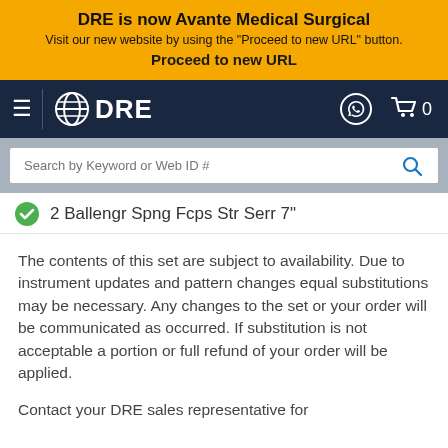DRE is now Avante Medical Surgical
Visit our new website by using the "Proceed to new URL" button.
Proceed to new URL
[Figure (screenshot): DRE website navigation bar with hamburger menu, globe-DRE logo, WhatsApp icon and shopping cart with 0 items, on dark navy background]
[Figure (screenshot): Search bar with placeholder text 'Search by Keyword or Web ID #' and blue search icon button]
2 Ballengr Spng Fcps Str Serr 7"
The contents of this set are subject to availability. Due to instrument updates and pattern changes equal substitutions may be necessary. Any changes to the set or your order will be communicated as occurred. If substitution is not acceptable a portion or full refund of your order will be applied.
Contact your DRE sales representative for